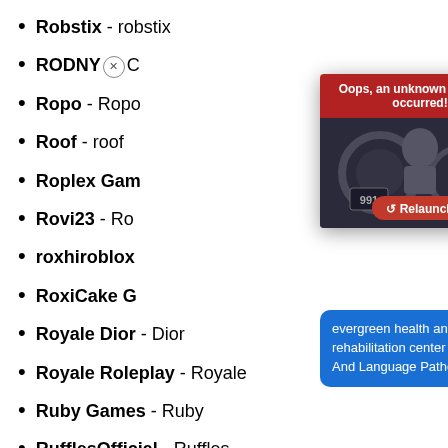Robstix - robstix
RODNY [x] C…
Ropo - Ropo…
Roof - roof
Roplex Gam…
Rovi23 - Ro…
roxhiroblox…
RoxiCake G…
Royale Dior - Dior
Royale Roleplay - Royale
Ruby Games - Ruby
RufflesOfficial - Ruffles
RussoPlays - Russo
[Figure (screenshot): Error overlay dialog with dark red header 'Oops, an unknown error has occurred!', a dark Roblox-style background image with a red Relaunch button, and a grey X close button]
[Figure (screenshot): Blue tooltip bubble showing 'evergreen health and rehabilitation center Speech And Language Patholo...' with a circular avatar of a nurse and a red badge showing '1']